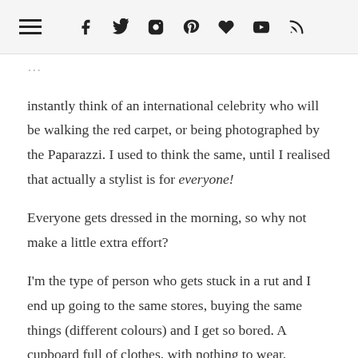[hamburger menu] [social icons: facebook, twitter, instagram, pinterest, heart, youtube, rss]
instantly think of an international celebrity who will be walking the red carpet, or being photographed by the Paparazzi. I used to think the same, until I realised that actually a stylist is for everyone!

Everyone gets dressed in the morning, so why not make a little extra effort?

I'm the type of person who gets stuck in a rut and I end up going to the same stores, buying the same things (different colours) and I get so bored. A cupboard full of clothes, with nothing to wear.

If you resonate with any of that, then you're in need of a stylist. I was introduced to Julie Ranzani